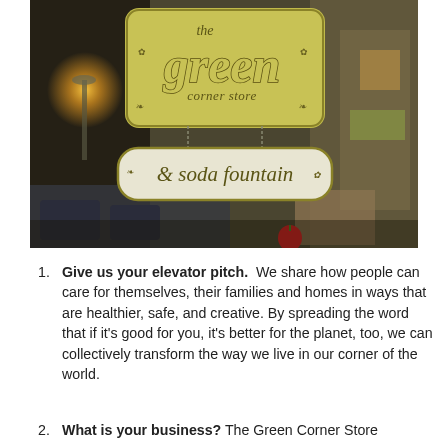[Figure (photo): Photo of 'the green corner store & soda fountain' hanging signs visible through a window, with street scene in background]
1. Give us your elevator pitch. We share how people can care for themselves, their families and homes in ways that are healthier, safe, and creative. By spreading the word that if it's good for you, it's better for the planet, too, we can collectively transform the way we live in our corner of the world.
2. What is your business? The Green Corner Store